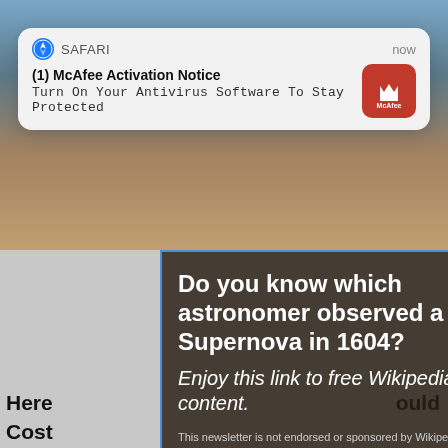[Figure (screenshot): Safari iOS notification card showing McAfee Activation Notice with McAfee logo icon]
(1) McAfee Activation Notice
Turn On Your Antivirus Software To Stay Protected
[Figure (screenshot): Wikipedia ad banner with dark background asking 'Do you know which astronomer observed a Supernova in 1604?' with italic text 'Enjoy this link to free Wikipedia content.' and disclaimer]
Do you know which astronomer observed a Supernova in 1604?
Enjoy this link to free Wikipedia content.
This newsletter is not endorsed or sponsored by Wikipedia or the Wikimedia Foundation.
Here Cost ould
RIGHT REPORT
Promoted ×
Top Democrats Fear This Video Getting Out — Watch Now Before It's Banned
219,245
These 2 Vegetables Kill Your Belly And Arm Fat Overnight
160,008